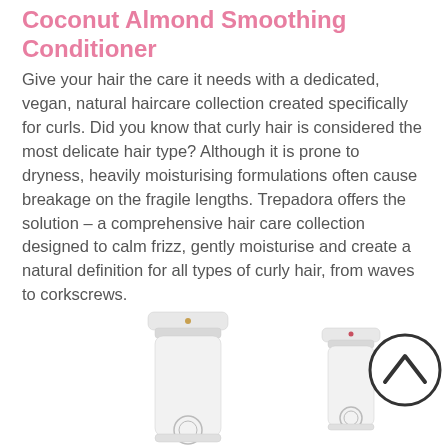Coconut Almond Smoothing Conditioner
Give your hair the care it needs with a dedicated, vegan, natural haircare collection created specifically for curls. Did you know that curly hair is considered the most delicate hair type? Although it is prone to dryness, heavily moisturising formulations often cause breakage on the fragile lengths. Trepadora offers the solution – a comprehensive hair care collection designed to calm frizz, gently moisturise and create a natural definition for all types of curly hair, from waves to corkscrews.
[Figure (photo): Two white pump dispenser bottles of hair care product and a circular up-arrow navigation button on the right]